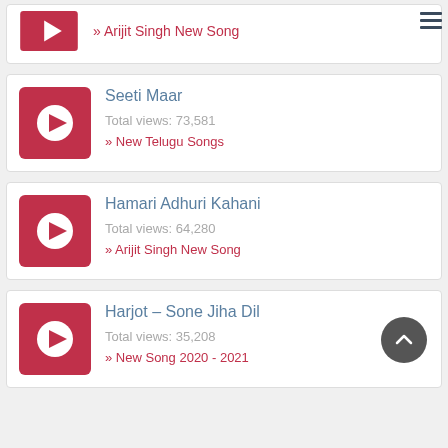Arijit Singh New Song — Total views partial (top cropped card)
Seeti Maar — Total views: 73,581 — New Telugu Songs
Hamari Adhuri Kahani — Total views: 64,280 — Arijit Singh New Song
Harjot – Sone Jiha Dil — Total views: 35,208 — New Song 2020 - 2021